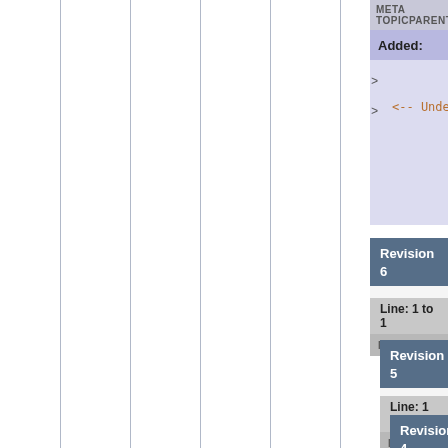META TOPICPARENT name="SubmitCase..."
Added:
<-- Under Construction -->
Revision 6
Line: 1 to 1
META TOPICPARENT name="SubmitC..."
Revision 5
Line: 1 to 1
META TOPICPARENT name="Sub..."
Revision 4
Line: 1 to 1